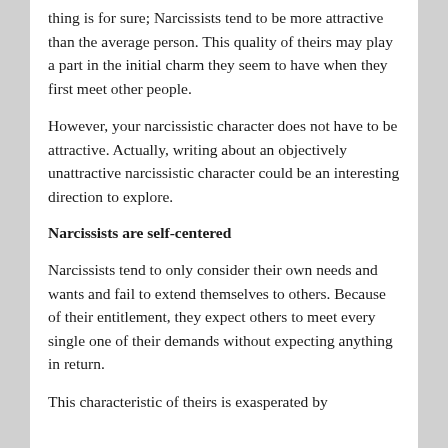thing is for sure; Narcissists tend to be more attractive than the average person. This quality of theirs may play a part in the initial charm they seem to have when they first meet other people.
However, your narcissistic character does not have to be attractive. Actually, writing about an objectively unattractive narcissistic character could be an interesting direction to explore.
Narcissists are self-centered
Narcissists tend to only consider their own needs and wants and fail to extend themselves to others. Because of their entitlement, they expect others to meet every single one of their demands without expecting anything in return.
This characteristic of theirs is exasperated by